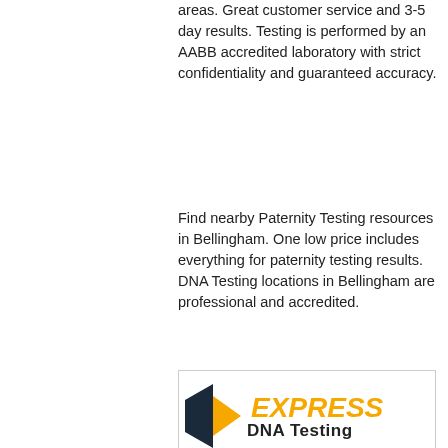areas. Great customer service and 3-5 day results. Testing is performed by an AABB accredited laboratory with strict confidentiality and guaranteed accuracy.
Find nearby Paternity Testing resources in Bellingham. One low price includes everything for paternity testing results. DNA Testing locations in Bellingham are professional and accredited.
[Figure (illustration): Express DNA Testing advertisement banner for Bellingham. Features the Express DNA Testing logo with an orange arrow graphic, bold orange italic EXPRESS text and black DNA Testing text. Below is a photo of a baby. A blue-gray bottom banner reads 'Bellingham' in white bold text with a gold 100% guarantee badge on the right. Contact information including website and phone number 1-800-993-1495 appears at bottom right.]